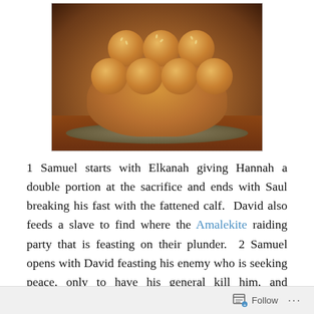[Figure (photo): Photo of a round braided challah bread with sesame seeds on a decorative plate, placed on a wooden table surface.]
1 Samuel starts with Elkanah giving Hannah a double portion at the sacrifice and ends with Saul breaking his fast with the fattened calf.  David also feeds a slave to find where the Amalekite raiding party that is feasting on their plunder.  2 Samuel opens with David feasting his enemy who is seeking peace, only to have his general kill him, and additional courses of treachery are added with Amnon and Absalom in chapter 13.  The feasting continues in 1 Kings with Adonijah giving a party to proclaim himself king.  Meals are included in many of the stories and show
Follow ···